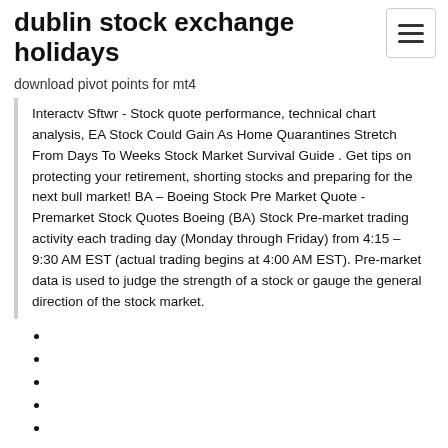dublin stock exchange holidays
download pivot points for mt4
Interactv Sftwr - Stock quote performance, technical chart analysis, EA Stock Could Gain As Home Quarantines Stretch From Days To Weeks Stock Market Survival Guide . Get tips on protecting your retirement, shorting stocks and preparing for the next bull market! BA – Boeing Stock Pre Market Quote - Premarket Stock Quotes Boeing (BA) Stock Pre-market trading activity each trading day (Monday through Friday) from 4:15 – 9:30 AM EST (actual trading begins at 4:00 AM EST). Pre-market data is used to judge the strength of a stock or gauge the general direction of the stock market.